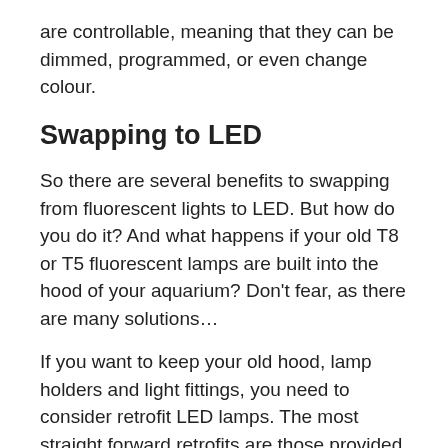are controllable, meaning that they can be dimmed, programmed, or even change colour.
Swapping to LED
So there are several benefits to swapping from fluorescent lights to LED. But how do you do it? And what happens if your old T8 or T5 fluorescent lamps are built into the hood of your aquarium? Don’t fear, as there are many solutions…
If you want to keep your old hood, lamp holders and light fittings, you need to consider retrofit LED lamps. The most straight forward retrofits are those provided by Arcadia and Aquarium Systems.
They are the same length, same diameter, have the same pins on the end, and can go straight